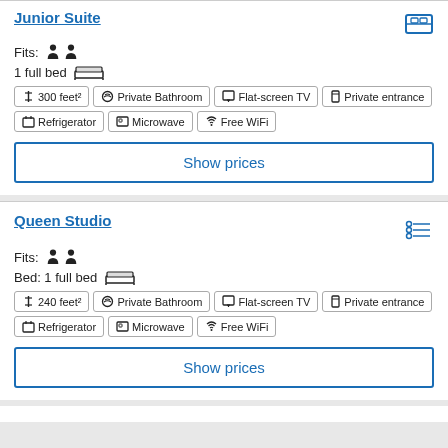Junior Suite
Fits: 👤 👤
1 full bed 🛏
↕ 300 feet² | Private Bathroom | Flat-screen TV | Private entrance | Refrigerator | Microwave | Free WiFi
Show prices
Queen Studio
Fits: 👤 👤
Bed: 1 full bed 🛏
↕ 240 feet² | Private Bathroom | Flat-screen TV | Private entrance | Refrigerator | Microwave | Free WiFi
Show prices